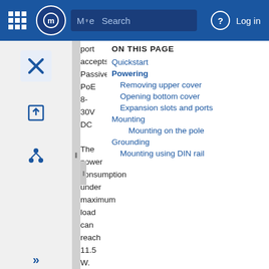Mode Search Log in
port accepts Passive PoE 8-30V DC The power consumption under maximum load can reach 11.5 W. Connecting to
ON THIS PAGE
Quickstart
Powering
Removing upper cover
Opening bottom cover
Expansion slots and ports
Mounting
Mounting on the pole
Grounding
Mounting using DIN rail